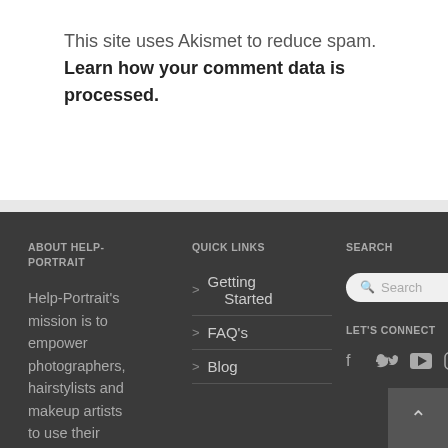This site uses Akismet to reduce spam. Learn how your comment data is processed.
ABOUT HELP-PORTRAIT
Help-Portrait's mission is to empower photographers, hairstylists and makeup artists to use their skills, tools and expertise to
QUICK LINKS
Getting Started
FAQ's
Blog
SEARCH
LET'S CONNECT